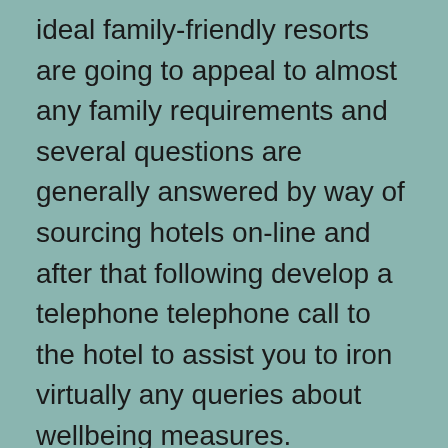ideal family-friendly resorts are going to appeal to almost any family requirements and several questions are generally answered by way of sourcing hotels on-line and after that following develop a telephone telephone call to the hotel to assist you to iron virtually any queries about wellbeing measures.
Huge instant amount savings in planning your retreat could arrive at get a strong on-line escape internet site to make sure you assessment, way together with book your holiday getaway escapades vs. traversing to a